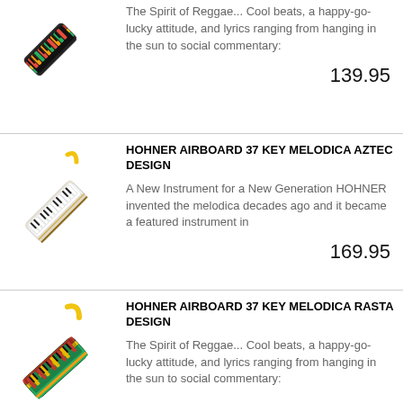[Figure (illustration): Hohner Melodica Rasta Design instrument, diagonal orientation, red/green/yellow coloring]
The Spirit of Reggae... Cool beats, a happy-go-lucky attitude, and lyrics ranging from hanging in the sun to social commentary:
139.95
[Figure (illustration): Hohner Airboard 37 Key Melodica Aztec Design instrument, diagonal orientation, white/black keys with yellow strap]
HOHNER AIRBOARD 37 KEY MELODICA AZTEC DESIGN
A New Instrument for a New Generation HOHNER invented the melodica decades ago and it became a featured instrument in
169.95
[Figure (illustration): Hohner Airboard 37 Key Melodica Rasta Design instrument, diagonal orientation, green/red/yellow coloring with yellow hook]
HOHNER AIRBOARD 37 KEY MELODICA RASTA DESIGN
The Spirit of Reggae... Cool beats, a happy-go-lucky attitude, and lyrics ranging from hanging in the sun to social commentary: